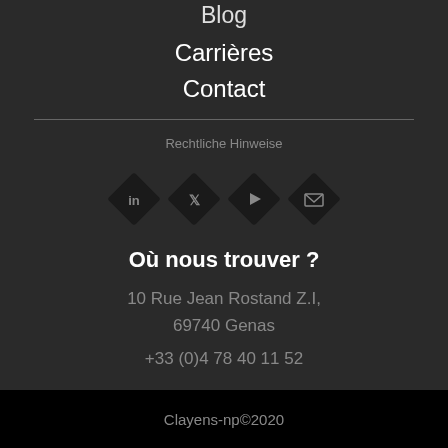Blog
Carrières
Contact
Rechtliche Hinweise
[Figure (illustration): Four diamond-shaped social media icons: LinkedIn, Twitter, YouTube, Email]
Où nous trouver ?
10 Rue Jean Rostand Z.I,
69740 Genas
+33 (0)4 78 40 11 52
Clayens-np©2020